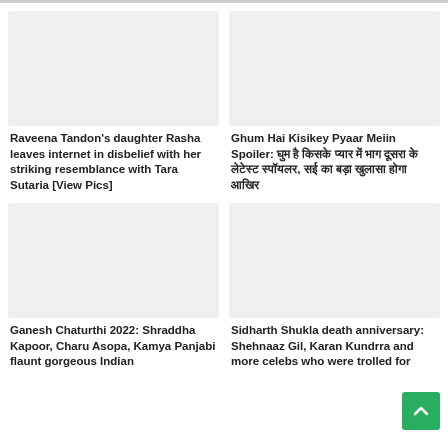[Figure (photo): Placeholder image for Raveena Tandon article]
[Figure (photo): Placeholder image for Ghum Hai Kisikey Pyaar Meiin Spoiler article]
Raveena Tandon's daughter Rasha leaves internet in disbelief with her striking resemblance with Tara Sutaria [View Pics]
Ghum Hai Kisikey Pyaar Meiin Spoiler: घुम है किसके प्यार में भाग दूसरा के लेटेस्ट स्पॉयलर, सई का बड़ा खुलासा होगा आखिर
[Figure (photo): Placeholder image for Ganesh Chaturthi 2022 article]
[Figure (photo): Placeholder image for Sidharth Shukla death anniversary article]
Ganesh Chaturthi 2022: Shraddha Kapoor, Charu Asopa, Kamya Panjabi flaunt gorgeous Indian
Sidharth Shukla death anniversary: Shehnaaz Gill, Karan Kundrra and more celebs who were trolled for